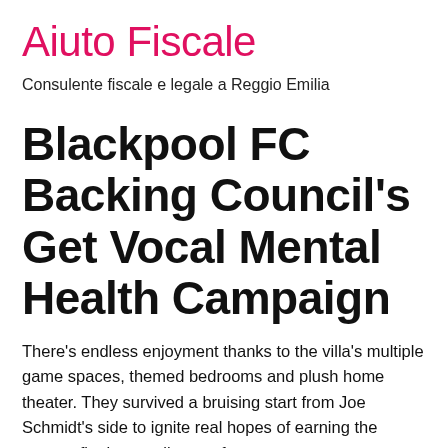Aiuto Fiscale
Consulente fiscale e legale a Reggio Emilia
Blackpool FC Backing Council's Get Vocal Mental Health Campaign
There's endless enjoyment thanks to the villa's multiple game spaces, themed bedrooms and plush home theater. They survived a bruising start from Joe Schmidt's side to ignite real hopes of earning the quarter-finals compliment of